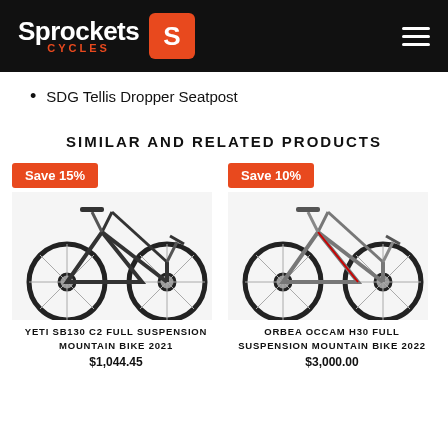Sprockets Cycles
SDG Tellis Dropper Seatpost
SIMILAR AND RELATED PRODUCTS
[Figure (photo): Mountain bike product image with Save 15% badge - Yeti SB130 C2 Full Suspension Mountain Bike 2021]
[Figure (photo): Mountain bike product image with Save 10% badge - Orbea Occam H30 Full Suspension Mountain Bike 2022]
YETI SB130 C2 FULL SUSPENSION MOUNTAIN BIKE 2021
ORBEA OCCAM H30 FULL SUSPENSION MOUNTAIN BIKE 2022